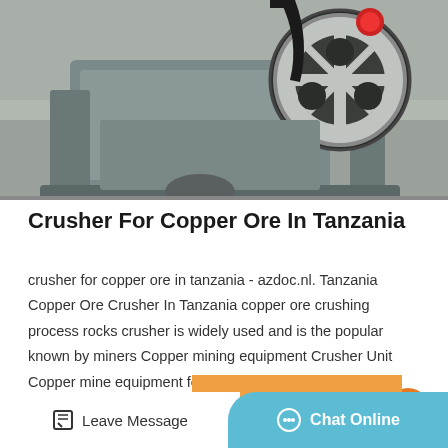[Figure (photo): Industrial jaw crusher machine with large black pulley wheel, red cap on top, and grey metal frame, photographed indoors on concrete floor.]
Crusher For Copper Ore In Tanzania
crusher for copper ore in tanzania - azdoc.nl. Tanzania Copper Ore Crusher In Tanzania copper ore crushing process rocks crusher is widely used and is the popular known by miners Copper mining equipment Crusher Unit Copper mine equipment for sale process…
Get Price
Leave Message
Chat Online